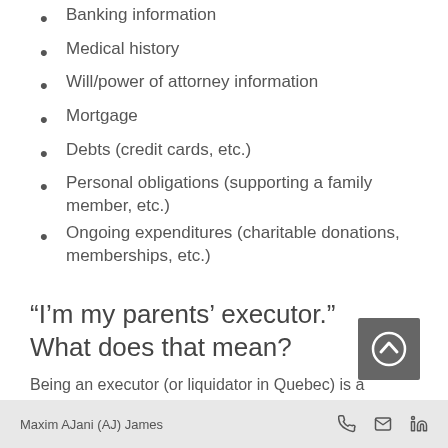Banking information
Medical history
Will/power of attorney information
Mortgage
Debts (credit cards, etc.)
Personal obligations (supporting a family member, etc.)
Ongoing expenditures (charitable donations, memberships, etc.)
“I’m my parents’ executor.” What does that mean?
Being an executor (or liquidator in Quebec) is a complex job that can include some risk. The role of an executor is to administer the estate according to
Maxim AJani (AJ) James